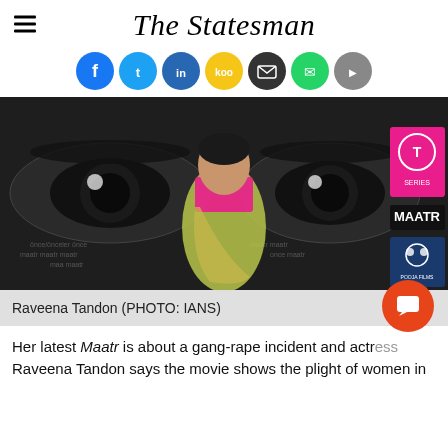The Statesman
[Figure (other): Social media share buttons: Facebook, Twitter, LinkedIn, Koo, Email, WhatsApp, and another platform]
[Figure (photo): Raveena Tandon standing in front of a promotional backdrop for the movie Maatr, featuring a large close-up of a woman's eyes. She is wearing a yellow-green saree with pink blouse. T-Series and Pooja Films logos visible on the right side.]
Raveena Tandon (PHOTO: IANS)
Her latest Maatr is about a gang-rape incident and actress Raveena Tandon says the movie shows the plight of women in